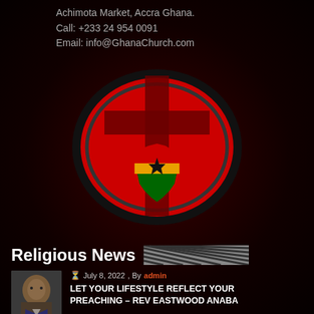Achimota Market, Accra Ghana.
Call: +233 24 954 0091
Email: info@GhanaChurch.com
[Figure (logo): Ghana Church logo: red oval with black circular outline, Christian cross in dark red/maroon, Ghana map silhouette in red/yellow/green with black star]
Religious News
July 8, 2022 , By admin
LET YOUR LIFESTYLE REFLECT YOUR PREACHING – REV EASTWOOD ANABA